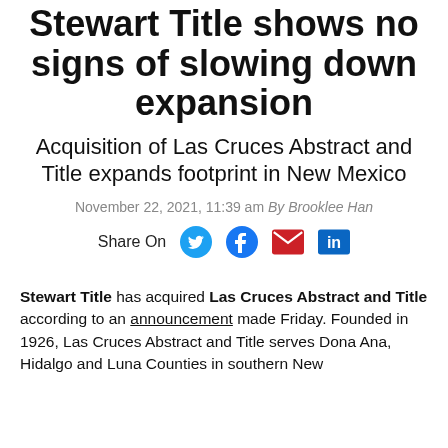Stewart Title shows no signs of slowing down expansion
Acquisition of Las Cruces Abstract and Title expands footprint in New Mexico
November 22, 2021, 11:39 am By Brooklee Han
Share On
Stewart Title has acquired Las Cruces Abstract and Title according to an announcement made Friday. Founded in 1926, Las Cruces Abstract and Title serves Dona Ana, Hidalgo and Luna Counties in southern New Mexico.